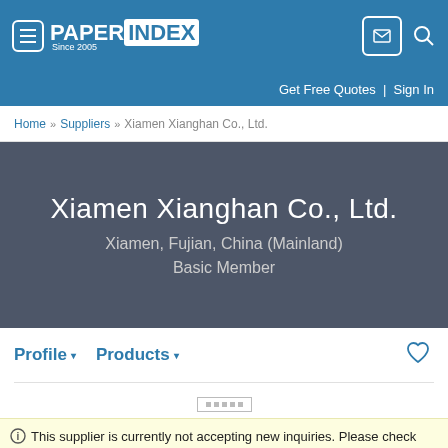PAPER INDEX Since 2005 — Get Free Quotes | Sign In
Home » Suppliers » Xiamen Xianghan Co., Ltd.
Xiamen Xianghan Co., Ltd.
Xiamen, Fujian, China (Mainland)
Basic Member
Profile ▾   Products ▾
ℹ This supplier is currently not accepting new inquiries. Please check back later.